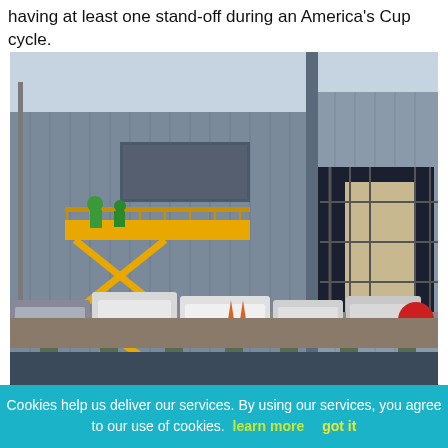having at least one stand-off during an America's Cup cycle.
[Figure (photo): A large industrial building or boat shed under construction at a waterfront. Workers on a yellow scissor lift platform are visible on the left side of the building. Cars and traffic cones are parked along a pier in the foreground. Scaffolding and an open large door reveal interior construction on the right side.]
Cookies help us deliver our services. By using our services, you agree to our use of cookies. learn more   got it